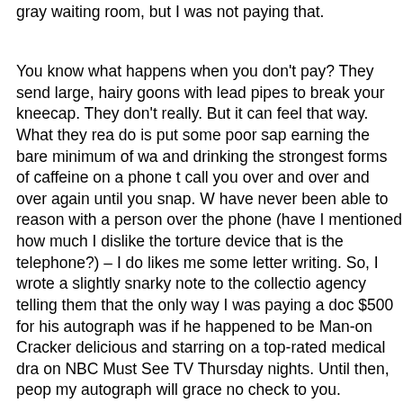gray waiting room, but I was not paying that.
You know what happens when you don't pay?  They send large, hairy goons with lead pipes to break your kneecaps.  They don't really.  But it can feel that way.  What they really do is put some poor sap earning the bare minimum of wages and drinking the strongest forms of caffeine on a phone to call you over and over and over again until you snap.  Well, I have never been able to reason with a person over the phone (have I mentioned how much I dislike the torture device that is the telephone?) – I do likes me some letter writing.  So, I wrote a slightly snarky note to the collection agency telling them that the only way I was paying a doctor $500 for his autograph was if he happened to be Man-on-a-Cracker delicious and starring on a top-rated medical drama on NBC Must See TV Thursday nights.  Until then, people, my autograph will grace no check to you.